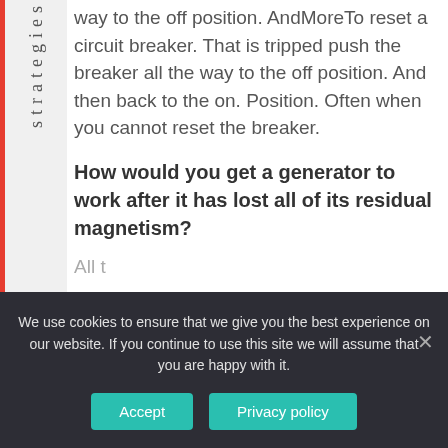strategies
way to the off position. AndMoreTo reset a circuit breaker. That is tripped push the breaker all the way to the off position. And then back to the on. Position. Often when you cannot reset the breaker.
How would you get a generator to work after it has lost all of its residual magnetism?
All t...
We use cookies to ensure that we give you the best experience on our website. If you continue to use this site we will assume that you are happy with it.